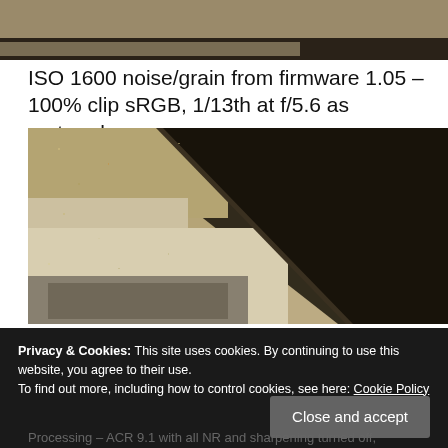[Figure (photo): Top portion of a cropped photograph showing a framed picture or mirror against a textured wall, at ISO 1600 noise level]
ISO 1600 noise/grain from firmware 1.05 – 100% clip sRGB, 1/13th at f/5.6 as metered
[Figure (photo): 100% crop showing ISO 1600 noise/grain from camera firmware 1.05 — a dark frame/border edge against a beige/tan textured wall background, with heavy grain visible]
Privacy & Cookies: This site uses cookies. By continuing to use this website, you agree to their use.
To find out more, including how to control cookies, see here: Cookie Policy
Processing – ACR 9.1 with all NR and sharpening turned off,